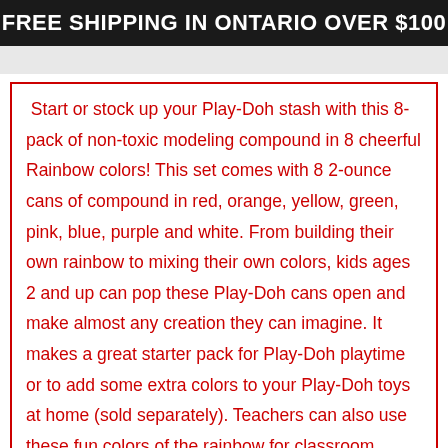FREE SHIPPING IN ONTARIO OVER $100
Start or stock up your Play-Doh stash with this 8-pack of non-toxic modeling compound in 8 cheerful Rainbow colors! This set comes with 8 2-ounce cans of compound in red, orange, yellow, green, pink, blue, purple and white. From building their own rainbow to mixing their own colors, kids ages 2 and up can pop these Play-Doh cans open and make almost any creation they can imagine. It makes a great starter pack for Play-Doh playtime or to add some extra colors to your Play-Doh toys at home (sold separately). Teachers can also use these fun colors of the rainbow for classroom